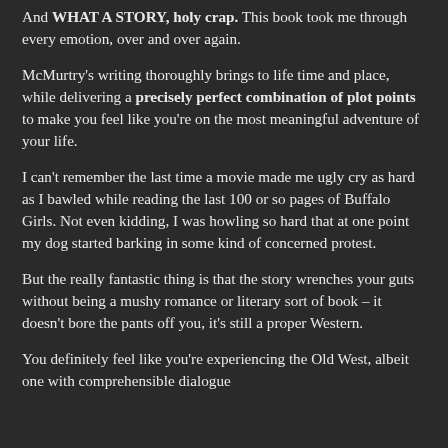And WHAT A STORY, holy crap. This book took me through every emotion, over and over again.
McMurtry's writing thoroughly brings to life time and place, while delivering a precisely perfect combination of plot points to make you feel like you're on the most meaningful adventure of your life.
I can't remember the last time a movie made me ugly cry as hard as I bawled while reading the last 100 or so pages of Buffalo Girls. Not even kidding, I was howling so hard that at one point my dog started barking in some kind of concerned protest.
But the really fantastic thing is that the story wrenches your guts without being a mushy romance or literary sort of book – it doesn't bore the pants off you, it's still a proper Western.
You definitely feel like you're experiencing the Old West, albeit one with comprehensible dialogue